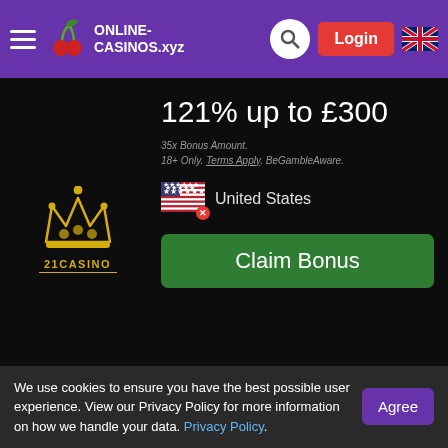ONLINE-CASINOS.xyz
121% up to £300
35x Bonus Amount. 18+ Only. Terms Apply. BeGambleAware.
United States
Claim Bonus
100% up to £300 + 200 Spins
40x Bonus Amount. 40x Spins Winnings. 18+ Only. Terms Apply. BeGambleAware.
We use cookies to ensure you have the best possible user experience. View our Privacy Policy for more information on how we handle your data. Privacy Policy.